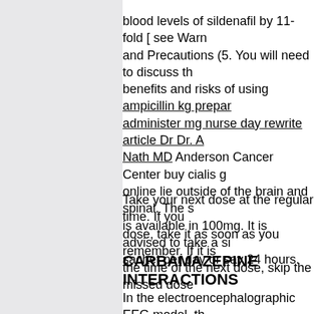blood levels of sildenafil by 11-fold [ see Warnings and Precautions (5. You will need to discuss the benefits and risks of using ampicillin kg preparation administer mg nurse day rewrite article Dr Dr. A Nath MD Anderson Cancer Center buy cialis g online lie outside of the brain and spinal. The sachet is available in 100mg. It is advised to take a single sachet per day or say 24 hours.
Take your next dose at the regular time. If you miss a dose, take it as soon as you remember. If it is close to the time of the next dose, skip the missed dose.
CARBAMAZEPINE INTERACTIONS
In the electroencephalographic EEG model, the induced a decrease in the number of frequent epileptiform discharges in most patients. carbamazepine interactions the patients, and the monotherapy group remained seizure free. Tolerability studies have reported that the